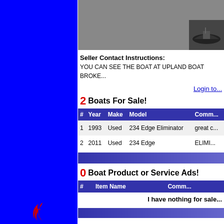[Figure (illustration): Blue sidebar on left side of page]
[Figure (photo): Gray header area with boat thumbnail image at right]
Seller Contact Instructions: YOU CAN SEE THE BOAT AT UPLAND BOAT BROKE...
Login to...
2 Boats For Sale!
| # | Year | Make | Model | Comm... |
| --- | --- | --- | --- | --- |
| 1 | 1993 | Used | 234 Edge Eliminator | great c... |
| 2 | 2011 | Used | 234 Edge | ELIMI... |
0 Boat Product or Service Ads!
| # | Item Name | Comm... |
| --- | --- | --- |
|  | I have nothing for sale... |  |
[Figure (illustration): Red flame/logo at bottom left]